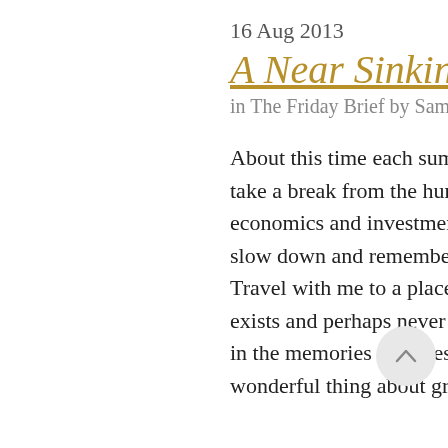16 Aug 2013
A Near Sinking at the Cape
in The Friday Brief by Sam Bass Jr.
About this time each summer it's fun to take a break from the humdrum of economics and investment practices to slow down and remember a simpler time. Travel with me to a place that no longer exists and perhaps never will again, except in the memories of a blessed few. The wonderful thing about growing up at